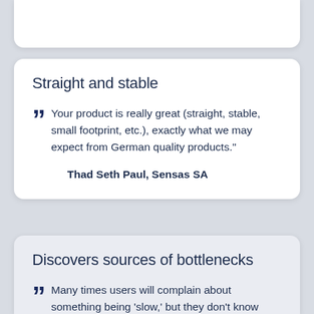Straight and stable
Your product is really great (straight, stable, small footprint, etc.), exactly what we may expect from German quality products."
Thad Seth Paul, Sensas SA
Discovers sources of bottlenecks
Many times users will complain about something being 'slow,' but they don't know what's causing it, if anything. With PRTG, I can